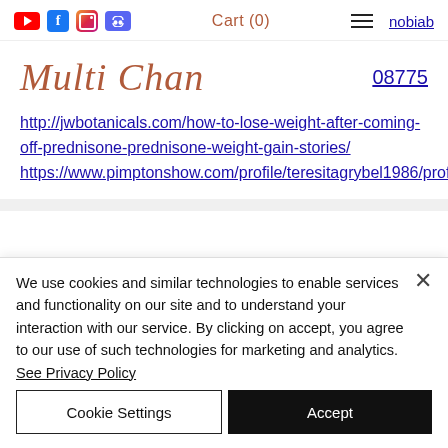Cart (0)  nobiab
Multi Chan
08775
http://jwbotanicals.com/how-to-lose-weight-after-coming-off-prednisone-prednisone-weight-gain-stories/ https://www.pimptonshow.com/profile/teresitagrybel1986/profile
We use cookies and similar technologies to enable services and functionality on our site and to understand your interaction with our service. By clicking on accept, you agree to our use of such technologies for marketing and analytics. See Privacy Policy